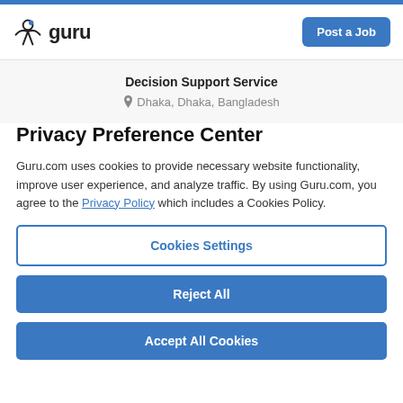guru — Post a Job
Decision Support Service
Dhaka, Dhaka, Bangladesh
Privacy Preference Center
Guru.com uses cookies to provide necessary website functionality, improve user experience, and analyze traffic. By using Guru.com, you agree to the Privacy Policy which includes a Cookies Policy.
Cookies Settings
Reject All
Accept All Cookies